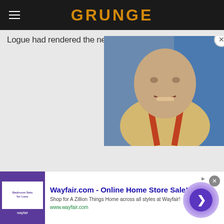GRUNGE
Logue had rendered the new king...
[Figure (screenshot): Video player thumbnail showing a bald man wearing yellow and red suspenders with a play button overlay. Close button in top right corner.]
[Figure (screenshot): Advertisement for Wayfair.com - Online Home Store Sale! with purple advertisement image showing bedroom furniture. Arrow circle button on right side.]